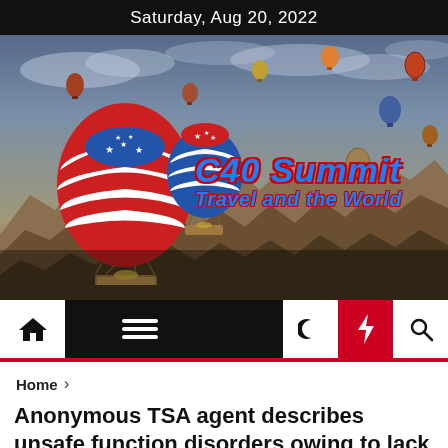Saturday, Aug 20, 2022
[Figure (illustration): C40 Summit Travel and the World website banner with hot air balloons over Cappadocia-like landscape. Logo features patriotic red-white-blue hot air balloons and stylized text 'C40 Summit' and 'Travel and the World'.]
Home > Anonymous TSA agent describes unsafe function disorders owing to lack of mask
Home
Anonymous TSA agent describes unsafe function disorders owing to lack of mask